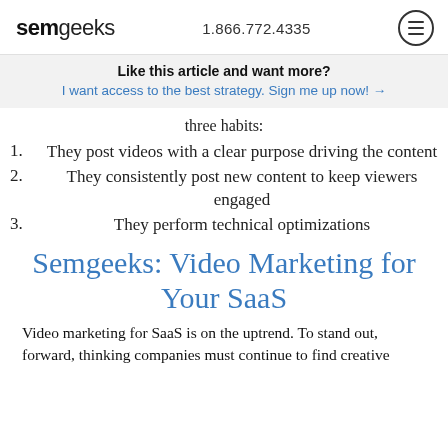semgeeks 1.866.772.4335
Like this article and want more?
I want access to the best strategy. Sign me up now! →
three habits:
They post videos with a clear purpose driving the content
They consistently post new content to keep viewers engaged
They perform technical optimizations
Semgeeks: Video Marketing for Your SaaS
Video marketing for SaaS is on the uptrend. To stand out, forward, thinking companies must continue to find creative